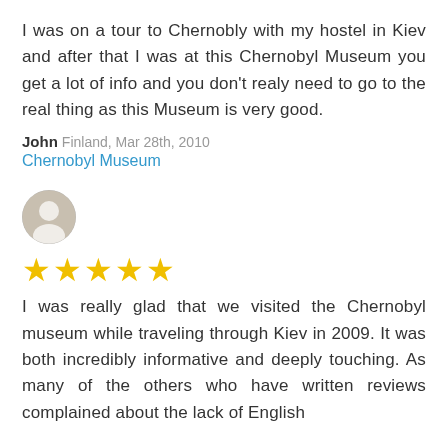I was on a tour to Chernobly with my hostel in Kiev and after that I was at this Chernobyl Museum you get a lot of info and you don't realy need to go to the real thing as this Museum is very good.
John  Finland, Mar 28th, 2010
Chernobyl Museum
[Figure (photo): Circular avatar photo of a user profile]
★★★★★
I was really glad that we visited the Chernobyl museum while traveling through Kiev in 2009. It was both incredibly informative and deeply touching. As many of the others who have written reviews complained about the lack of English